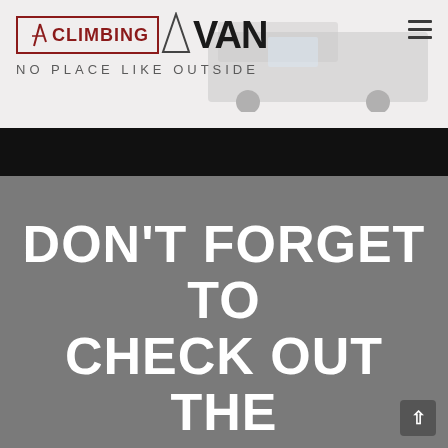[Figure (screenshot): Website header for Climbing Van with logo, tagline 'NO PLACE LIKE OUTSIDE', hamburger menu icon, and a van photograph in the background]
DON'T FORGET TO CHECK OUT THE VANS
& don't forget the Coupon Code